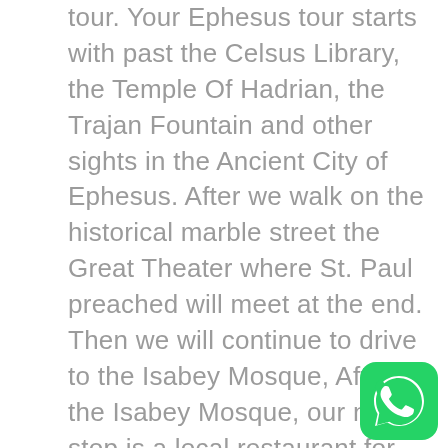tour. Your Ephesus tour starts with past the Celsus Library, the Temple Of Hadrian, the Trajan Fountain and other sights in the Ancient City of Ephesus. After we walk on the historical marble street the Great Theater where St. Paul preached will meet at the end. Then we will continue to drive to the Isabey Mosque, After the Isabey Mosque, our next stop is a local restaurant for lunch. In the afternoon will visit the carpet cooperative to see how the Turkish carpets are made by hand. Continue to the shrine of Mother Mary (Virgin Mary House), it is believed where she spent recent years of her life. Then continue to visit Temple of Artemis (Diana), on the side of one of the seven wonders of ancient World. 16.15 – At the end of the guided St. Mary House Ephesus Ancient City tour, drive back to Kusadasi.
[Figure (logo): WhatsApp green chat bubble icon in bottom right corner]